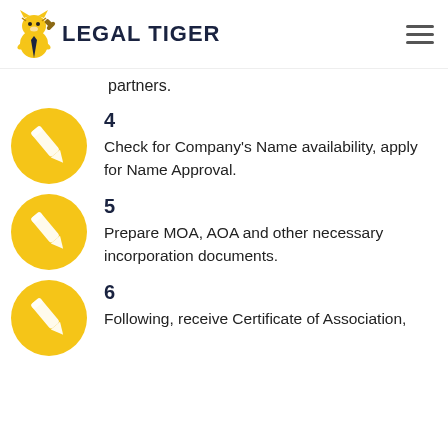LEGAL TIGER
partners.
4
Check for Company's Name availability, apply for Name Approval.
5
Prepare MOA, AOA and other necessary incorporation documents.
6
Following, receive Certificate of Association,